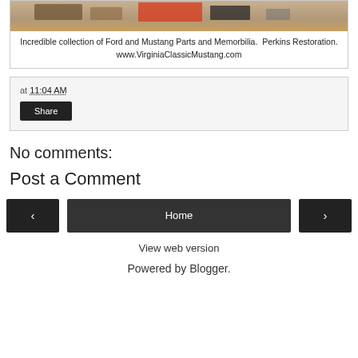[Figure (photo): Photo of Ford and Mustang parts and memorbilia collection at Perkins Restoration]
Incredible collection of Ford and Mustang Parts and Memorbilia.  Perkins Restoration.
www.VirginiaClassicMustang.com
at 11:04 AM
Share
No comments:
Post a Comment
‹
Home
›
View web version
Powered by Blogger.